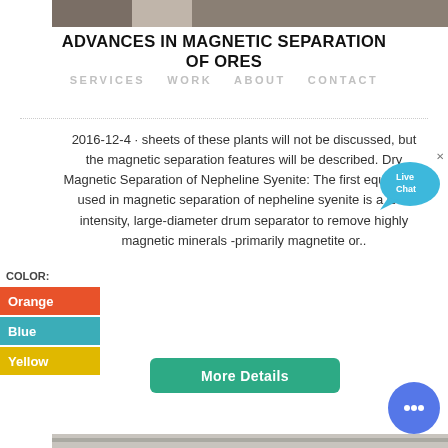[Figure (photo): Top image showing industrial equipment or machinery, partially visible at top of page]
ADVANCES IN MAGNETIC SEPARATION OF ORES
SERVICES   WORK   ABOUT   CONTACT
2016-12-4 · sheets of these plants will not be discussed, but the magnetic separation features will be described. Dry Magnetic Separation of Nepheline Syenite: The first equipment used in magnetic separation of nepheline syenite is a low-intensity, large-diameter drum separator to remove highly magnetic minerals -primarily magnetite or..
[Figure (other): Live Chat widget bubble in blue with speech bubble shape]
COLOR: Orange
Blue
Yellow
[Figure (other): More Details green button]
[Figure (other): Blue circular chat icon in bottom right]
[Figure (photo): Bottom image showing industrial equipment, partially visible at bottom of page]